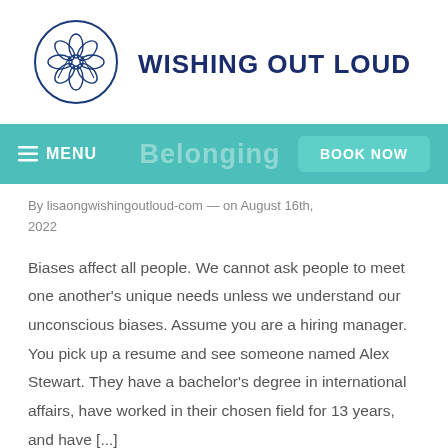WISHING OUT LOUD
Belonging
By lisaongwishingoutloud-com — on August 16th, 2022
Biases affect all people. We cannot ask people to meet one another's unique needs unless we understand our unconscious biases. Assume you are a hiring manager. You pick up a resume and see someone named Alex Stewart. They have a bachelor's degree in international affairs, have worked in their chosen field for 13 years, and have [...]